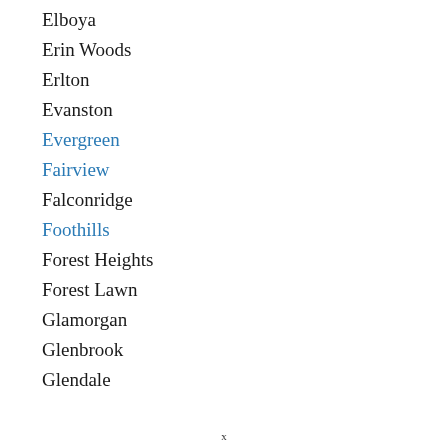Elboya
Erin Woods
Erlton
Evanston
Evergreen
Fairview
Falconridge
Foothills
Forest Heights
Forest Lawn
Glamorgan
Glenbrook
Glendale
x